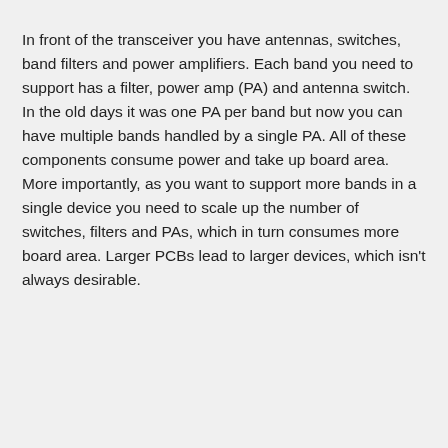In front of the transceiver you have antennas, switches, band filters and power amplifiers. Each band you need to support has a filter, power amp (PA) and antenna switch. In the old days it was one PA per band but now you can have multiple bands handled by a single PA. All of these components consume power and take up board area. More importantly, as you want to support more bands in a single device you need to scale up the number of switches, filters and PAs, which in turn consumes more board area. Larger PCBs lead to larger devices, which isn't always desirable.